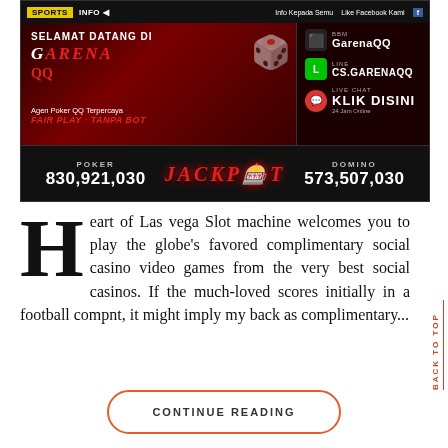[Figure (screenshot): GarenaQQ online poker/casino website screenshot showing navigation bar, main banner with 'SELAMAT DATANG DI GARENA QQ', contact info (BBM, LINE, LIVE CHAT), and jackpot bar showing POKER 830,921,030 and DOMINO 573,507,030]
Heart of Las vega Slot machine welcomes you to play the globe's favored complimentary social casino video games from the very best social casinos. If the much-loved scores initially in a football compnt, it might imply my back as complimentary...
BACK TO TOP
CONTINUE READING